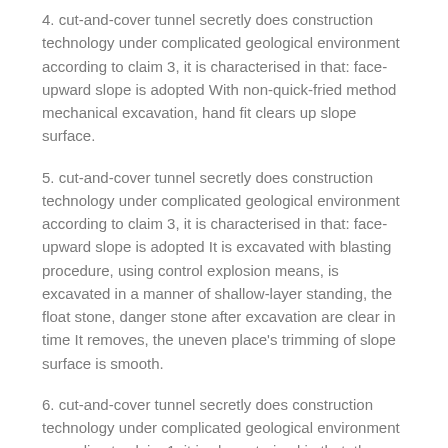4. cut-and-cover tunnel secretly does construction technology under complicated geological environment according to claim 3, it is characterised in that: face-upward slope is adopted With non-quick-fried method mechanical excavation, hand fit clears up slope surface.
5. cut-and-cover tunnel secretly does construction technology under complicated geological environment according to claim 3, it is characterised in that: face-upward slope is adopted It is excavated with blasting procedure, using control explosion means, is excavated in a manner of shallow-layer standing, the float stone, danger stone after excavation are clear in time It removes, the uneven place's trimming of slope surface is smooth.
6. cut-and-cover tunnel secretly does construction technology under complicated geological environment according to claim 1, it is characterised in that: the steel arch Frame is processed using I-steel, and steel arch-shelf both ends are welded to connect steel plate, and steel arch-shelf should ensure that examination splicing is closed before transporting to building site Lattice.